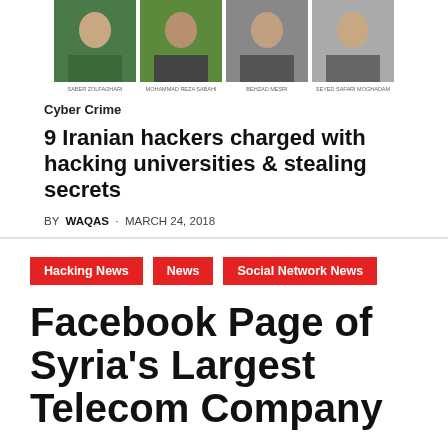[Figure (photo): Four headshot photos of Iranian hackers side by side with small caption labels beneath each]
Cyber Crime
9 Iranian hackers charged with hacking universities & stealing secrets
BY WAQAS · MARCH 24, 2018
Hacking News · News · Social Network News
Facebook Page of Syria's Largest Telecom Company